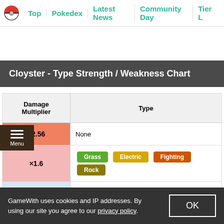Top | Pokedex | Latest News | Community Day | Tier L
Cloyster - Type Strength / Weakness Chart
| Damage Multiplier | Type |
| --- | --- |
| ×2.56 | None |
| ×1.6 | Grass  Electric  Fighting  Rock |
| ×0.625 | Water |
GameWith uses cookies and IP addresses. By using our site you agree to our privacy policy.